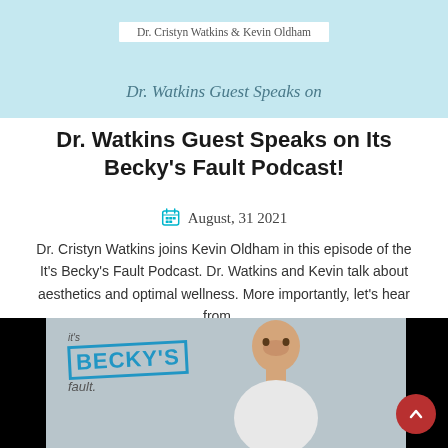[Figure (photo): Top banner with light blue background showing 'Dr. Cristyn Watkins & Kevin Oldham' label and subtitle 'Dr. Watkins Guest Speaks on']
Dr. Watkins Guest Speaks on Its Becky's Fault Podcast!
August, 31 2021
Dr. Cristyn Watkins joins Kevin Oldham in this episode of the It's Becky's Fault Podcast. Dr. Watkins and Kevin talk about aesthetics and optimal wellness. More importantly, let's hear from…
FIND OUT MORE
[Figure (photo): Bottom image showing It's Becky's Fault podcast branding with a man smiling, on dark/grey background with black sides]